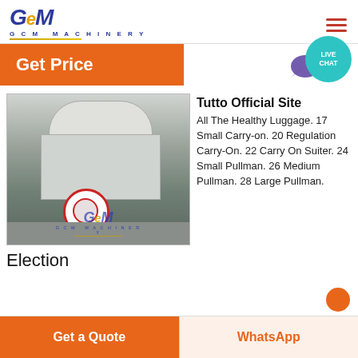GCM MACHINERY
Get Price
[Figure (photo): Industrial cone crusher machine photographed in a factory/warehouse setting, with GCM Machinery logo watermark overlay]
Tutto Official Site
All The Healthy Luggage. 17 Small Carry-on. 20 Regulation Carry-On. 22 Carry On Suiter. 24 Small Pullman. 26 Medium Pullman. 28 Large Pullman.
Election
Get a Quote   WhatsApp